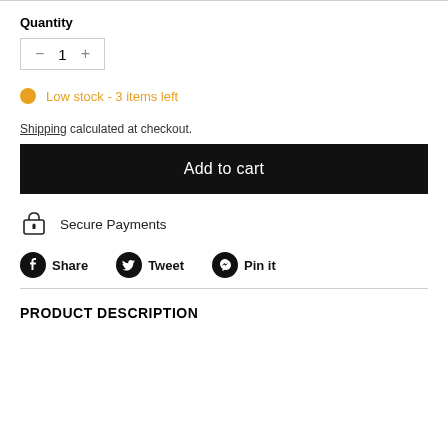Quantity
- 1 +
Low stock - 3 items left
Shipping calculated at checkout.
Add to cart
Secure Payments
Share  Tweet  Pin it
PRODUCT DESCRIPTION